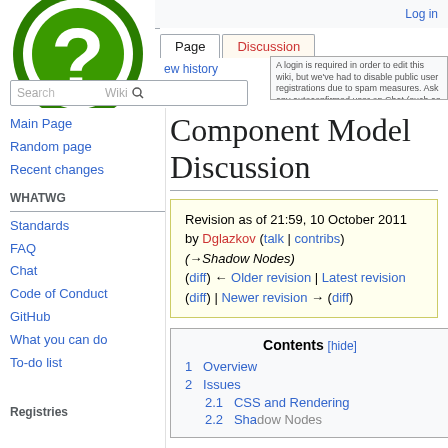Log in
[Figure (logo): Wikipedia question mark logo — green circle with white question mark]
Page  Discussion  View history
A login is required in order to edit this wiki, but we've had to disable public user registrations due to spam measures. Ask any autoconfirmed user on Chat (such as one of those at #whatwg) to invite you.
Search WHATWG wiki
Component Model Discussion
Revision as of 21:59, 10 October 2011 by Dglazkov (talk | contribs) (→Shadow Nodes) (diff) ← Older revision | Latest revision (diff) | Newer revision → (diff)
Main Page
Random page
Recent changes
WHATWG
Standards
FAQ
Chat
Code of Conduct
GitHub
What you can do
To-do list
Registries
Contents [hide]
1  Overview
2  Issues
2.1  CSS and Rendering
2.2  Shadow Nodes